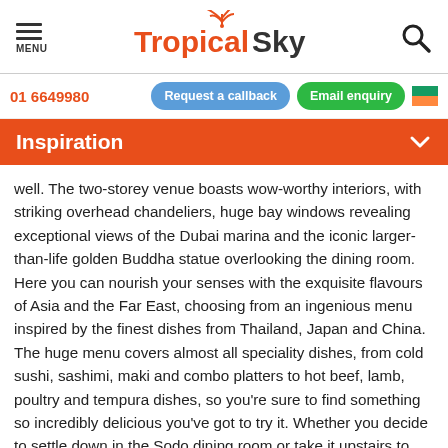MENU | Tropical Sky | Search
01 6649980
Request a callback | Email enquiry
Inspiration
well. The two-storey venue boasts wow-worthy interiors, with striking overhead chandeliers, huge bay windows revealing exceptional views of the Dubai marina and the iconic larger-than-life golden Buddha statue overlooking the dining room. Here you can nourish your senses with the exquisite flavours of Asia and the Far East, choosing from an ingenious menu inspired by the finest dishes from Thailand, Japan and China. The huge menu covers almost all speciality dishes, from cold sushi, sashimi, maki and combo platters to hot beef, lamb, poultry and tempura dishes, so you're sure to find something so incredibly delicious you've got to try it. Whether you decide to settle down in the Sodo dining room or take it upstairs to the Dragon bar for DJ-spun tunes, a night at the Buddha Bar is guaranteed to be one to remember.